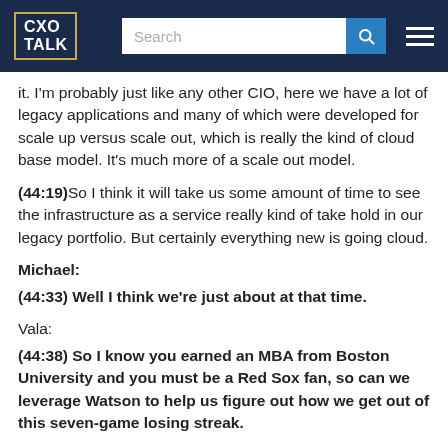CXO TALK
it. I'm probably just like any other CIO, here we have a lot of legacy applications and many of which were developed for scale up versus scale out, which is really the kind of cloud base model. It's much more of a scale out model.
(44:19) So I think it will take us some amount of time to see the infrastructure as a service really kind of take hold in our legacy portfolio. But certainly everything new is going cloud.
Michael:
(44:33) Well I think we're just about at that time.
Vala:
(44:38) So I know you earned an MBA from Boston University and you must be a Red Sox fan, so can we leverage Watson to help us figure out how we get out of this seven-game losing streak.
Jeanette: